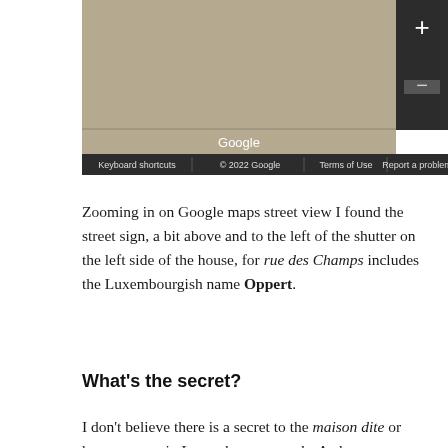[Figure (screenshot): Google Maps street view screenshot showing a map area with Google branding, zoom controls, and a footer bar with Keyboard shortcuts, © 2022 Google, Terms of Use, and Report a problem links.]
Zooming in on Google maps street view I found the street sign, a bit above and to the left of the shutter on the left side of the house, for rue des Champs includes the Luxembourgish name Oppert.
What's the secret?
I don't believe there is a secret to the maison dite or house names in Luxembourg records. As long as we know how surnames evolved and how house names were used to identify people, we can use the rules to